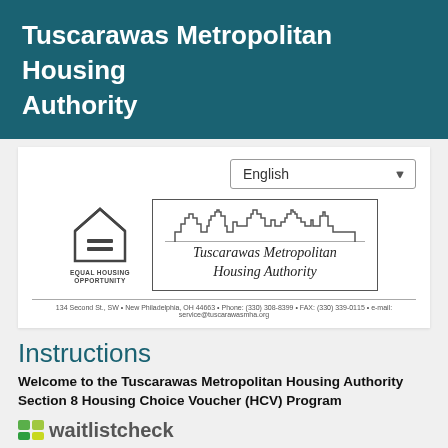Tuscarawas Metropolitan Housing Authority
[Figure (logo): Equal Housing Opportunity logo and Tuscarawas Metropolitan Housing Authority organization logo with skyline illustration]
134 Second St., SW • New Philadelphia, OH 44663 • Phone: (330) 308-8399 • FAX: (330) 339-0115 • e-mail: service@tuscarawasmha.org
Instructions
Welcome to the Tuscarawas Metropolitan Housing Authority Section 8 Housing Choice Voucher (HCV) Program
[Figure (logo): waitlistcheck logo with mn icon]